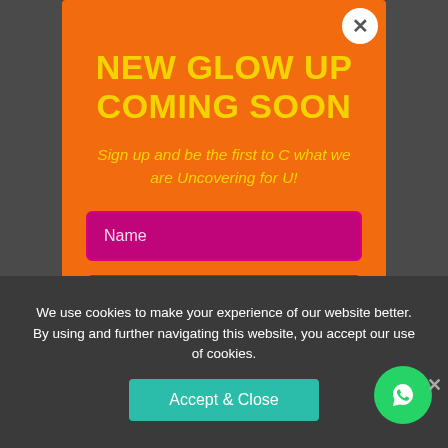NEW GLOW UP COMING SOON
Sign up and be the first to C what we are Uncovering for U!
Name
Email
We use cookies to make your experience of our website better. By using and further navigating this website, you accept our use of cookies.
Accept & Close